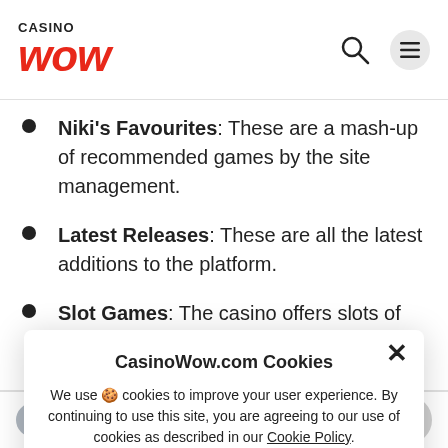CASINO WOW
Niki's Favourites: These are a mash-up of recommended games by the site management.
Latest Releases: These are all the latest additions to the platform.
Slot Games: The casino offers slots of all types, including video slots, classic slots, Vegas slots, and more.
Jackpot Games: Here some of the best paying them are jackpot and guide you to ideal area of the casino are.
CasinoWow.com Cookies
We use 🍪 cookies to improve your user experience. By continuing to use this site, you are agreeing to our use of cookies as described in our Cookie Policy.
Accept
LuckyNiki Casino